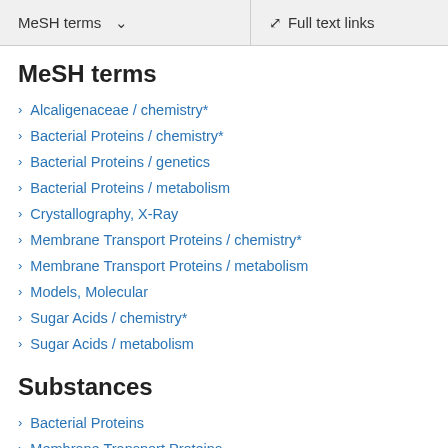MeSH terms   Full text links
MeSH terms
Alcaligenaceae / chemistry*
Bacterial Proteins / chemistry*
Bacterial Proteins / genetics
Bacterial Proteins / metabolism
Crystallography, X-Ray
Membrane Transport Proteins / chemistry*
Membrane Transport Proteins / metabolism
Models, Molecular
Sugar Acids / chemistry*
Sugar Acids / metabolism
Substances
Bacterial Proteins
Membrane Transport Proteins